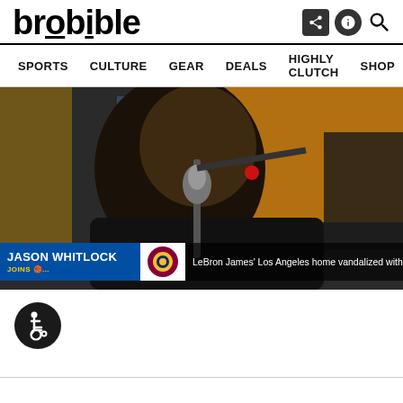brobible
SPORTS  CULTURE  GEAR  DEALS  HIGHLY CLUTCH  SHOP >
[Figure (photo): Jason Whitlock speaking at a microphone on a TV broadcast. Lower-third graphic shows 'JASON WHITLOCK' with a Cavaliers logo and ticker: 'LeBron James' Los Angeles home vandalized with racist gr...']
[Figure (illustration): Accessibility wheelchair user icon in a black circle]